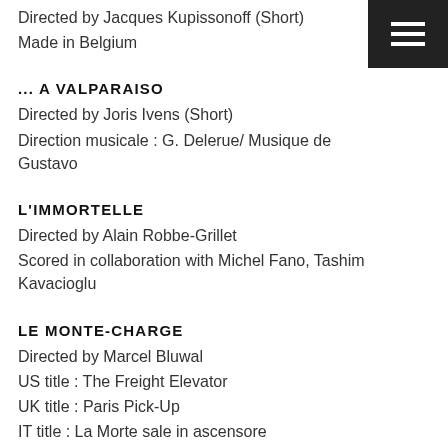Directed by Jacques Kupissonoff (Short)
Made in Belgium
... A VALPARAISO
Directed by Joris Ivens (Short)
Direction musicale : G. Delerue/ Musique de Gustavo
L'IMMORTELLE
Directed by Alain Robbe-Grillet
Scored in collaboration with Michel Fano, Tashim Kavacioglu
LE MONTE-CHARGE
Directed by Marcel Bluwal
US title : The Freight Elevator
UK title : Paris Pick-Up
IT title : La Morte sale in ascensore